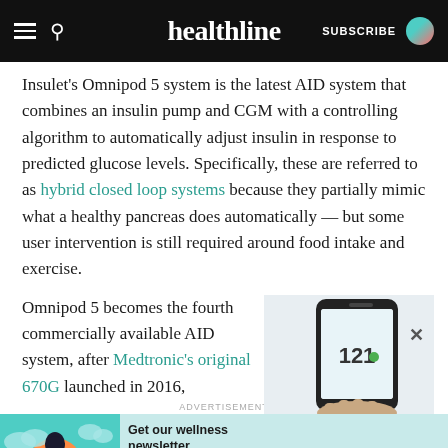healthline — SUBSCRIBE
Insulet's Omnipod 5 system is the latest AID system that combines an insulin pump and CGM with a controlling algorithm to automatically adjust insulin in response to predicted glucose levels. Specifically, these are referred to as hybrid closed loop systems because they partially mimic what a healthy pancreas does automatically — but some user intervention is still required around food intake and exercise.
Omnipod 5 becomes the fourth commercially available AID system, after Medtronic's original 670G launched in 2016,
[Figure (photo): Hand holding a smartphone displaying a glucose monitoring app showing the number 121]
ADVERTISEMENT
[Figure (infographic): Advertisement banner: Get our wellness newsletter. Subscribe button. Illustration of a woman with teal background and cloud shapes.]